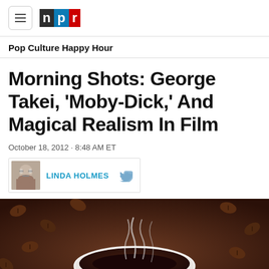NPR logo and navigation header
Pop Culture Happy Hour
Morning Shots: George Takei, 'Moby-Dick,' And Magical Realism In Film
October 18, 2012 · 8:48 AM ET
LINDA HOLMES
[Figure (photo): A steaming cup of coffee with wisps of smoke rising, surrounded by coffee beans in the background]